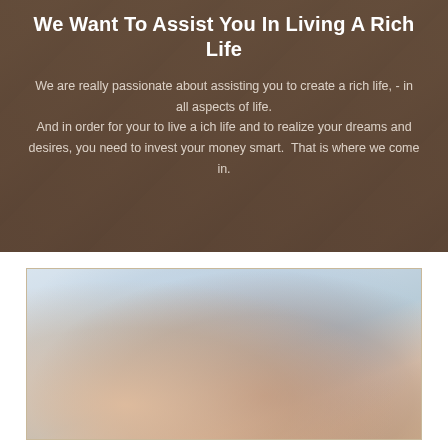We Want To Assist You In Living A Rich Life
We are really passionate about assisting you to create a rich life, - in all aspects of life. And in order for your to live a ich life and to realize your dreams and desires, you need to invest your money smart.  That is where we come in.
[Figure (photo): A blurred photo of people, with a light blue background and warm skin tones visible, inside a gold-bordered frame.]